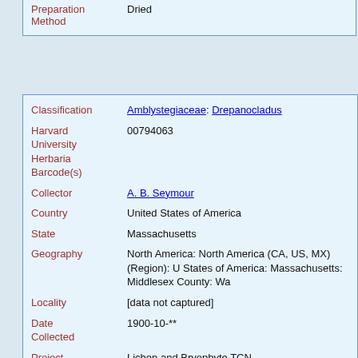| Field | Value |
| --- | --- |
| Preparation Method | Dried |
| Classification | Amblystegiaceae: Drepanocladus |
| Harvard University Herbaria Barcode(s) | 00794063 |
| Collector | A. B. Seymour |
| Country | United States of America |
| State | Massachusetts |
| Geography | North America: North America (CA, US, MX) (Region): United States of America: Massachusetts: Middlesex County: Wa... |
| Locality | [data not captured] |
| Date Collected | 1900-10-** |
| Project | Lichen and Bryophyte TCN |
| GUID | http://purl.oclc.org/net/edu.harvard.huh/guid/uuid/9f2...5a4e-4d86-b51d-36784e9e666b |
| Harvard University | 00794063 |